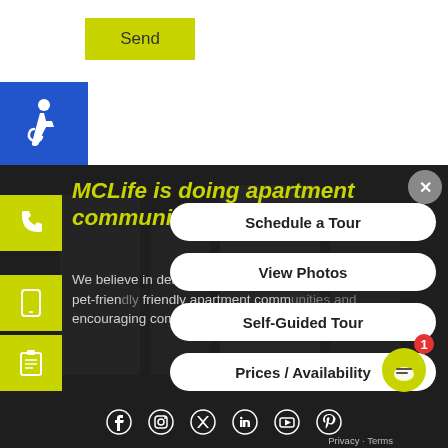Send
[Figure (illustration): Wheelchair accessibility icon in white on blue background]
MCLife is doing apartment communities differe
We believe in delivering top notch service, offering pet-friendly friendly apartment communities and encouraging community in the areas we operate in.
Schedule a Tour
View Photos
Self-Guided Tour
Prices / Availability
[Figure (illustration): Social media icons: Facebook, Instagram, Twitter, LinkedIn, YouTube, Pinterest]
Privacy · Terms